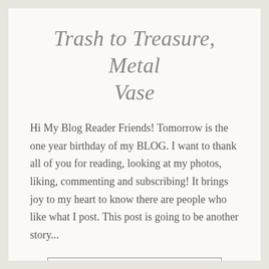Trash to Treasure, Metal Vase
Hi My Blog Reader Friends! Tomorrow is the one year birthday of my BLOG. I want to thank all of you for reading, looking at my photos, liking, commenting and subscribing! It brings joy to my heart to know there are people who like what I post. This post is going to be another story...
READ MORE →